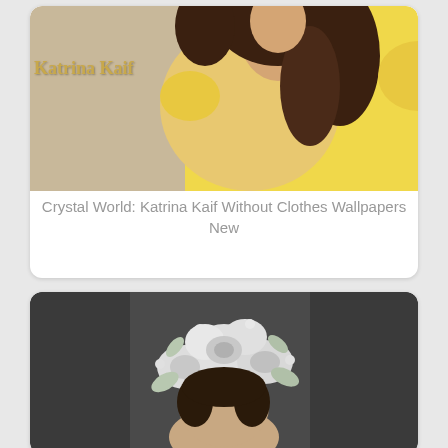[Figure (photo): Photo of Katrina Kaif wearing a yellow top with curly brown hair, against a beige background. Text overlay reads 'Katrina Kaif' in gold.]
Crystal World: Katrina Kaif Without Clothes Wallpapers New
[Figure (photo): Photo of a woman wearing an elaborate white floral crown/headdress made of roses and leaves, against a dark grey background.]